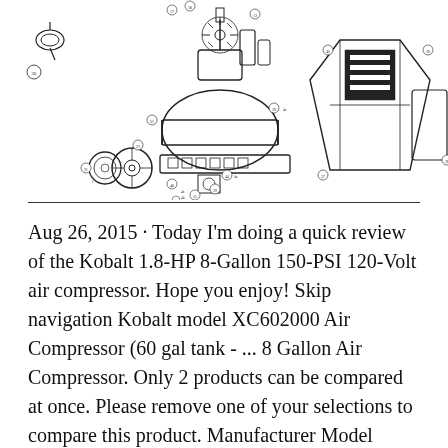[Figure (schematic): Exploded parts diagram of an air compressor showing numbered components including tank, motor, compressor head, handle, wheels, pressure gauge, and various hardware pieces. Parts are labeled with circled numbers.]
Aug 26, 2015 · Today I'm doing a quick review of the Kobalt 1.8-HP 8-Gallon 150-PSI 120-Volt air compressor. Hope you enjoy! Skip navigation Kobalt model XC602000 Air Compressor (60 gal tank - ... 8 Gallon Air Compressor. Only 2 products can be compared at once. Please remove one of your selections to compare this product. Manufacturer Model Number. 0300841.